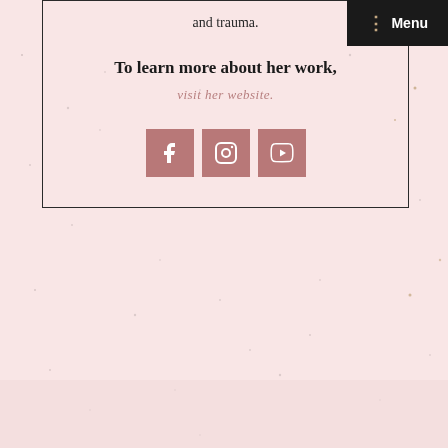and trauma.
Menu
To learn more about her work,
visit her website.
[Figure (other): Three social media icons: Facebook, Instagram, YouTube, rendered as white icons on mauve/pink square backgrounds]